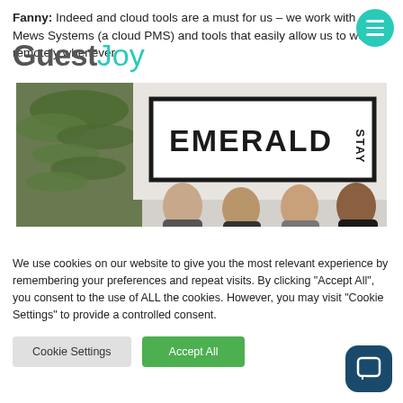Fanny: Indeed and cloud tools are a must for us – we work with Mews Systems (a cloud PMS) and tools that easily allow us to work remotely whenever necessary.
[Figure (logo): GuestJoy logo — 'Guest' in bold grey and 'Joy' in teal/turquoise]
[Figure (photo): Four people standing in front of an 'EMERALD STAY' sign with a large plant on the left]
We use cookies on our website to give you the most relevant experience by remembering your preferences and repeat visits. By clicking "Accept All", you consent to the use of ALL the cookies. However, you may visit "Cookie Settings" to provide a controlled consent.